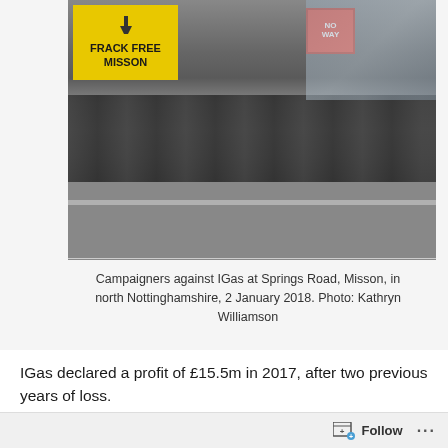[Figure (photo): Protesters at Springs Road, Misson. A yellow banner reads 'FRACK FREE MISSON', people stand in a group on a road, one holds a red 'NO' sign. Taken 2 January 2018.]
Campaigners against IGas at Springs Road, Misson, in north Nottinghamshire, 2 January 2018. Photo: Kathryn Williamson
IGas declared a profit of £15.5m in 2017, after two previous years of loss.
According to the annual accounts, the company saw a large fall in its debt, following a major restructuring. It also recorded an increase in revenue.
Chief Executive, Stephen Bowler, said: